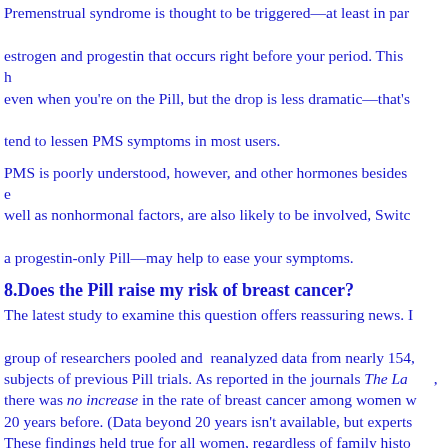Premenstrual syndrome is thought to be triggered—at least in part—by a drop in estrogen and progestin that occurs right before your period. This hormonal drop occurs even when you're on the Pill, but the drop is less dramatic—that's why the Pill tends to tend to lessen PMS symptoms in most users.
PMS is poorly understood, however, and other hormones besides estrogen, as well as nonhormonal factors, are also likely to be involved. Switching formulas—or to a progestin-only Pill—may help to ease your symptoms.
8.Does the Pill raise my risk of breast cancer?
The latest study to examine this question offers reassuring news. In 1996, a group of researchers pooled and reanalyzed data from nearly 154, subjects of previous Pill trials. As reported in the journals The Lancet, there was no increase in the rate of breast cancer among women who had taken the Pill 20 years before. (Data beyond 20 years isn't available, but experts are optimistic.) These findings held true for all women, regardless of family history, how long they'd taken the Pill, and whether they'd taken high- or low-dose pills, and other factors.
The study did find a slightly increased risk of being diagnosed with breast cancer in women currently taking the Pill and those who'd quit less than 10 years ago. For women ages 25 to 29, for instance, 4.3 cancers per 10,000 were detected among Pill users, compared with 3.5 cancers among women not on the Pill.) But since long-term Pill use doesn't affect the risk of cancer in later years, when breast cancer is more common, some speculate that young Pill users have more frequent breast exams that